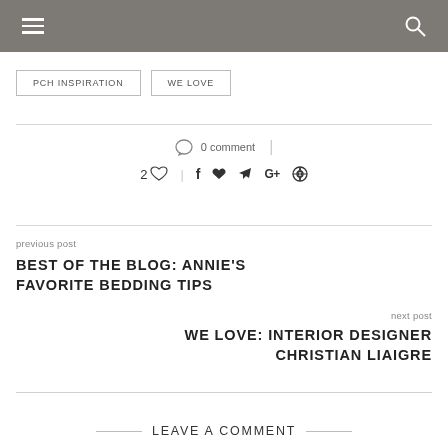≡ 🔍
PCH INSPIRATION | WE LOVE
0 comment
2 ♡ | f  🐦  G+  ⊕
previous post
BEST OF THE BLOG: ANNIE'S FAVORITE BEDDING TIPS
next post
WE LOVE: INTERIOR DESIGNER CHRISTIAN LIAIGRE
LEAVE A COMMENT